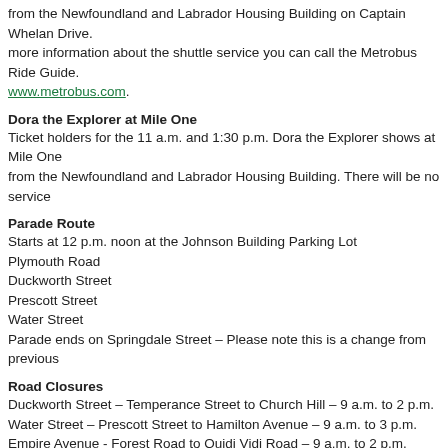from the Newfoundland and Labrador Housing Building on Captain Whelan Drive. For more information about the shuttle service you can call the Metrobus Ride Guide. www.metrobus.com.
Dora the Explorer at Mile One
Ticket holders for the 11 a.m. and 1:30 p.m. Dora the Explorer shows at Mile One from the Newfoundland and Labrador Housing Building. There will be no service
Parade Route
Starts at 12 p.m. noon at the Johnson Building Parking Lot
Plymouth Road
Duckworth Street
Prescott Street
Water Street
Parade ends on Springdale Street – Please note this is a change from previous
Road Closures
Duckworth Street – Temperance Street to Church Hill – 9 a.m. to 2 p.m.
Water Street – Prescott Street to Hamilton Avenue – 9 a.m. to 3 p.m.
Empire Avenue - Forest Road to Quidi Vidi Road – 9 a.m. to 2 p.m.
Factory Lane – 9 a.m. to 2 p.m.
Forest Road - Kings Bridge Road to Empire Avenue – 9 a.m. to 2 p.m.
Cavendish Square/Ordnance Street – 10 a.m. to 2 p.m.
Prescott Street - Gower Street to Water Street – 11 a.m. to 2 p.m.
Queen Street – 9 a.m. to 3 p.m.